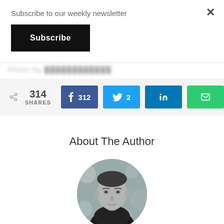Subscribe to our weekly newsletter
Subscribe
314 SHARES
312 (Facebook)
2 (Twitter)
LinkedIn
Email
About The Author
[Figure (photo): Circular black and white headshot photo of a man in dark clothing against a blurred background]